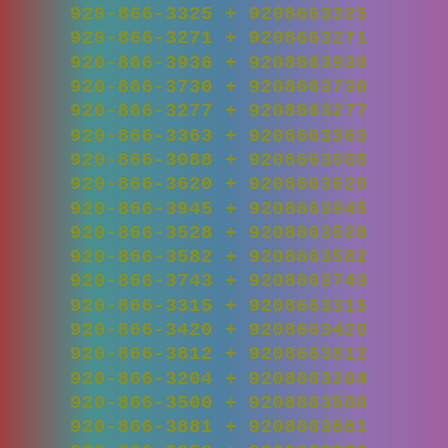920-866-3325 + 9208663325
920-866-3271 + 9208663271
920-866-3936 + 9208663936
920-866-3730 + 9208663730
920-866-3277 + 9208663277
920-866-3363 + 9208663363
920-866-3088 + 9208663088
920-866-3620 + 9208663620
920-866-3945 + 9208663945
920-866-3528 + 9208663528
920-866-3582 + 9208663582
920-866-3743 + 9208663743
920-866-3315 + 9208663315
920-866-3420 + 9208663420
920-866-3812 + 9208663812
920-866-3204 + 9208663204
920-866-3500 + 9208663500
920-866-3881 + 9208663881
920-866-3350 + 9208663350
920-866-3327 + 9208663327
920-866-3942 + 9208663942
920-866-3029 + 9208663029
920-866-3172 + 9208663172